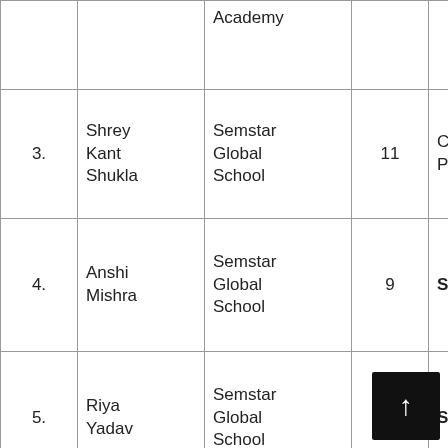| # | Name | School | Class | Result |
| --- | --- | --- | --- | --- |
|  |  | Academy |  |  |
| 3. | Shrey Kant Shukla | Semstar Global School | 11 | Cert of Participation |
| 4. | Anshi Mishra | Semstar Global School | 9 | Shortlisted |
| 5. | Riya Yadav | Semstar Global School | 11 | Shortlisted |
| 6. | Jahnvi Saroj | Semstar Global School | 11 | Shortlisted |